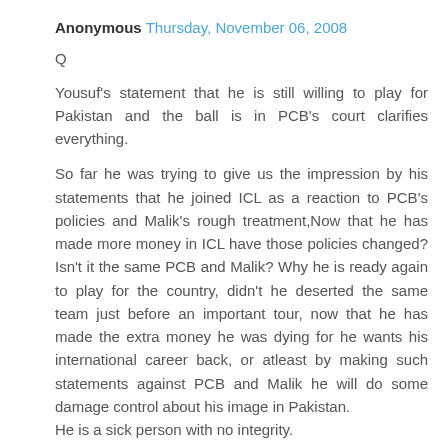Anonymous  Thursday, November 06, 2008
Q
Yousuf's statement that he is still willing to play for Pakistan and the ball is in PCB's court clarifies everything.
So far he was trying to give us the impression by his statements that he joined ICL as a reaction to PCB's policies and Malik's rough treatment,Now that he has made more money in ICL have those policies changed? Isn't it the same PCB and Malik? Why he is ready again to play for the country, didn't he deserted the same team just before an important tour, now that he has made the extra money he was dying for he wants his international career back, or atleast by making such statements against PCB and Malik he will do some damage control about his image in Pakistan.
He is a sick person with no integrity.
I will end this discussion over here, and will agree to disagree.